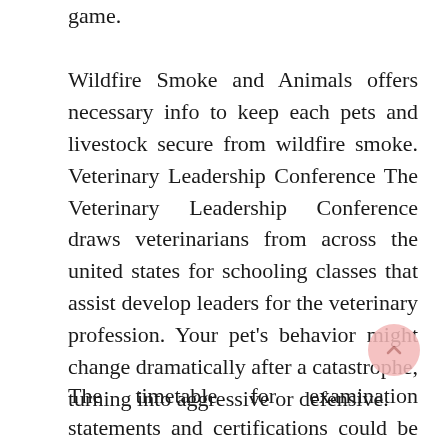game.
Wildfire Smoke and Animals offers necessary info to keep each pets and livestock secure from wildfire smoke. Veterinary Leadership Conference The Veterinary Leadership Conference draws veterinarians from across the united states for schooling classes that assist develop leaders for the veterinary profession. Your pet’s behavior might change dramatically after a catastrophe, turning into aggressive or defensive.
The timetable for examination statements and certifications could be very tight. Plan